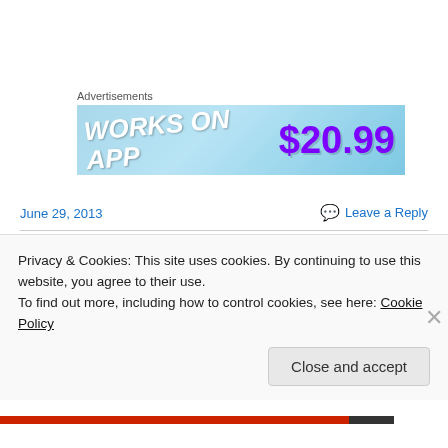Advertisements
[Figure (photo): Advertisement banner with light blue background showing text 'WORKS ON APP' in white italic letters and '$20.99' in large purple text]
June 29, 2013
Leave a Reply
Remembering Day :: Where
Privacy & Cookies: This site uses cookies. By continuing to use this website, you agree to their use.
To find out more, including how to control cookies, see here: Cookie Policy
Close and accept